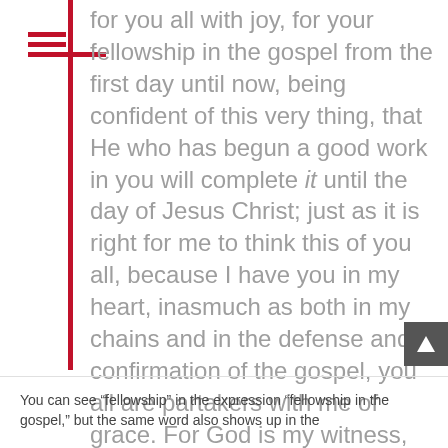for you all with joy, for your fellowship in the gospel from the first day until now, being confident of this very thing, that He who has begun a good work in you will complete it until the day of Jesus Christ; just as it is right for me to think this of you all, because I have you in my heart, inasmuch as both in my chains and in the defense and confirmation of the gospel, you all are partakers with me of grace. For God is my witness, how greatly I long for you all with the affection of Jesus Christ. (Philippians 1:3-8)
You can see “fellowship” in the expression “fellowship in the gospel,” but the same word also shows up in the